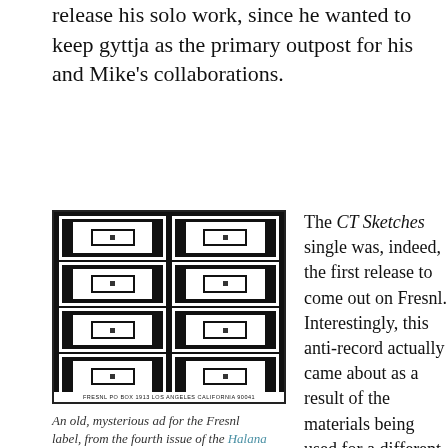release his solo work, since he wanted to keep gyttja as the primary outpost for his and Mike's collaborations.
[Figure (photo): An old advertisement for the Fresnl label showing a grid of 8 concentric rectangle designs in black and white, arranged in 4 rows and 2 columns. At the bottom it reads: FRESNL PO BOX 1913 LOS ANGELES CALIFORNIA 90041]
An old, mysterious ad for the Fresnl label, from the fourth issue of the Halana zine
The CT Sketches single was, indeed, the first release to come out on Fresnl. Interestingly, this anti-record actually came about as a result of the materials being used for a different record altogether. He had ordered 50